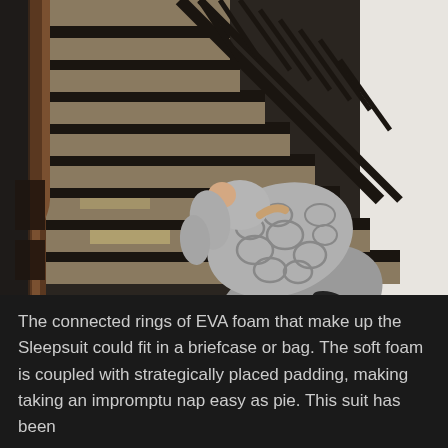[Figure (photo): A person wearing a large sculptural grey suit made of connected EVA foam rings lying on dark wooden stairs with ornate black metal railings. The staircase has a wooden banister on the left and white walls on the right.]
The connected rings of EVA foam that make up the Sleepsuit could fit in a briefcase or bag. The soft foam is coupled with strategically placed padding, making taking an impromptu nap easy as pie. This suit has been